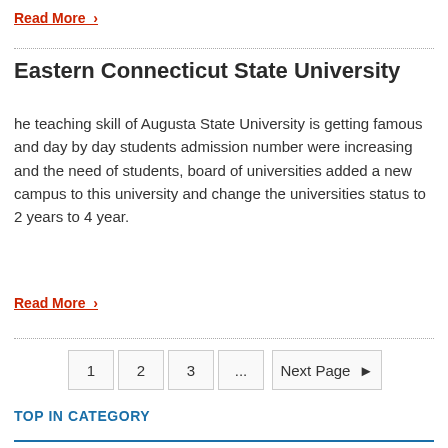Read More ›
Eastern Connecticut State University
he teaching skill of Augusta State University is getting famous and day by day students admission number were increasing and the need of students, board of universities added a new campus to this university and change the universities status to 2 years to 4 year.
Read More ›
1  2  3  ...  Next Page ▶
TOP IN CATEGORY